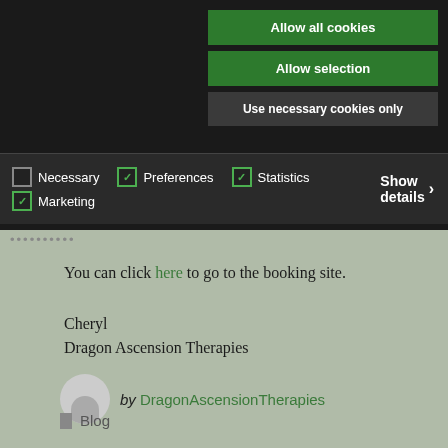Allow all cookies
Allow selection
Use necessary cookies only
Necessary  Preferences  Statistics  Marketing  Show details
You can click here to go to the booking site.
Cheryl
Dragon Ascension Therapies
by DragonAscensionTherapies
Blog